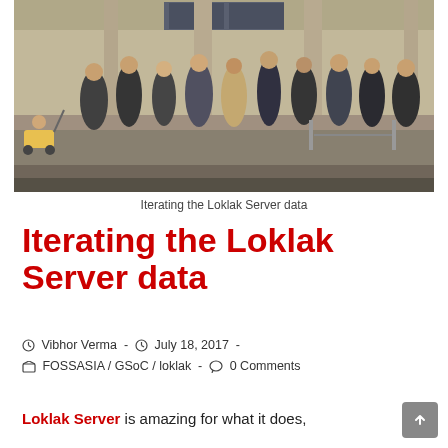[Figure (photo): People standing in a long queue inside a large building with stone walls and high windows. A child in a stroller is visible on the left side.]
Iterating the Loklak Server data
Iterating the Loklak Server data
Vibhor Verma · July 18, 2017 · FOSSASIA / GSoC / loklak · 0 Comments
Loklak Server is amazing for what it does,